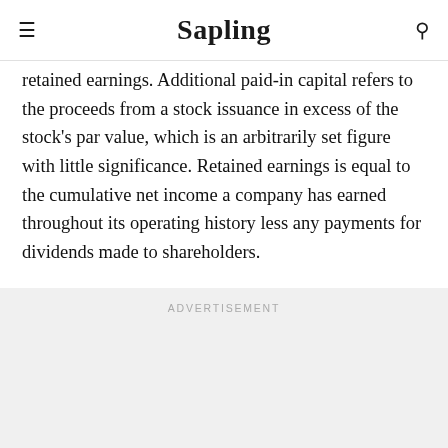Sapling
retained earnings. Additional paid-in capital refers to the proceeds from a stock issuance in excess of the stock's par value, which is an arbitrarily set figure with little significance. Retained earnings is equal to the cumulative net income a company has earned throughout its operating history less any payments for dividends made to shareholders.
Advertisement